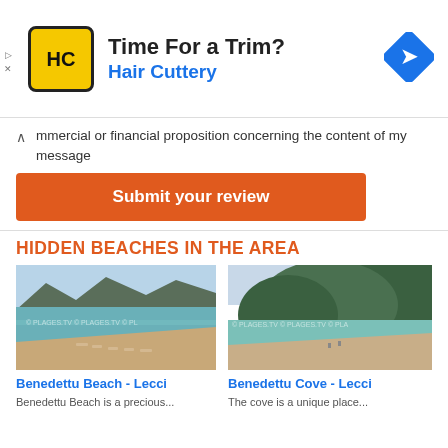[Figure (screenshot): Advertisement banner for Hair Cuttery with yellow HC logo, text 'Time For a Trim?' and 'Hair Cuttery' in blue, and a blue diamond navigation icon on the right.]
commercial or financial proposition concerning the content of my message
Submit your review
HIDDEN BEACHES IN THE AREA
[Figure (photo): Beach photo of Benedettu Beach - Lecci showing sandy beach with sun loungers and parasols, calm blue-green sea, and mountains in the background. Watermark: © PLAGES.TV]
[Figure (photo): Beach photo of Benedettu Cove - Lecci showing a cove with wooded hillside, calm clear water. Watermark: © PLAGES.TV]
Benedettu Beach - Lecci
Benedettu Cove - Lecci